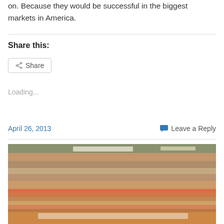on. Because they would be successful in the biggest markets in America.
Share this:
Share
Loading...
April 26, 2013    Leave a Reply
[Figure (photo): A stadium filled with spectators, showing crowded bleachers with an athletic track visible at the bottom. The image appears to be from a vintage sports event.]